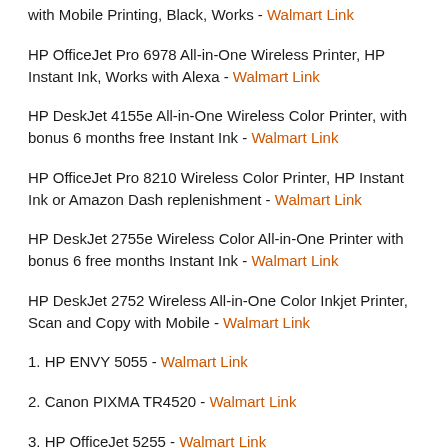with Mobile Printing, Black, Works - Walmart Link
HP OfficeJet Pro 6978 All-in-One Wireless Printer, HP Instant Ink, Works with Alexa - Walmart Link
HP DeskJet 4155e All-in-One Wireless Color Printer, with bonus 6 months free Instant Ink - Walmart Link
HP OfficeJet Pro 8210 Wireless Color Printer, HP Instant Ink or Amazon Dash replenishment - Walmart Link
HP DeskJet 2755e Wireless Color All-in-One Printer with bonus 6 free months Instant Ink - Walmart Link
HP DeskJet 2752 Wireless All-in-One Color Inkjet Printer, Scan and Copy with Mobile - Walmart Link
1. HP ENVY 5055 - Walmart Link
2. Canon PIXMA TR4520 - Walmart Link
3. HP OfficeJet 5255 - Walmart Link